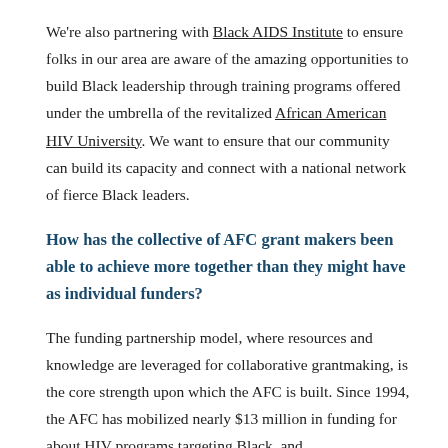We're also partnering with Black AIDS Institute to ensure folks in our area are aware of the amazing opportunities to build Black leadership through training programs offered under the umbrella of the revitalized African American HIV University. We want to ensure that our community can build its capacity and connect with a national network of fierce Black leaders.
How has the collective of AFC grant makers been able to achieve more together than they might have as individual funders?
The funding partnership model, where resources and knowledge are leveraged for collaborative grantmaking, is the core strength upon which the AFC is built. Since 1994, the AFC has mobilized nearly $13 million in funding for about HIV programs targeting Black, and…